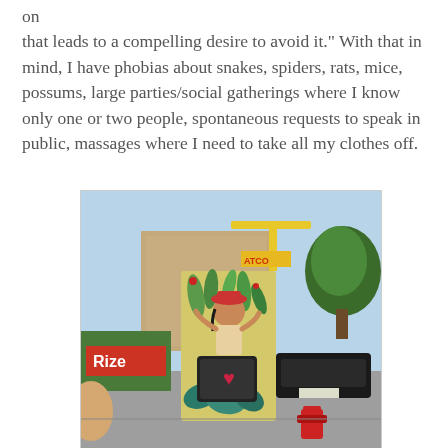on that leads to a compelling desire to avoid it." With that in mind, I have phobias about snakes, spiders, rats, mice, possums, large parties/social gatherings where I know only one or two people, spontaneous requests to speak in public, massages where I need to take all my clothes off.
[Figure (photo): A colorfully painted utility box or kiosk featuring a cartoon woman figure with floral and nature motifs in greens, yellows, and teals. The box displays a heart symbol and is surrounded by street scenery including a construction site with a 'Rize' sign, trees, parked cars, and a red fire hydrant.]